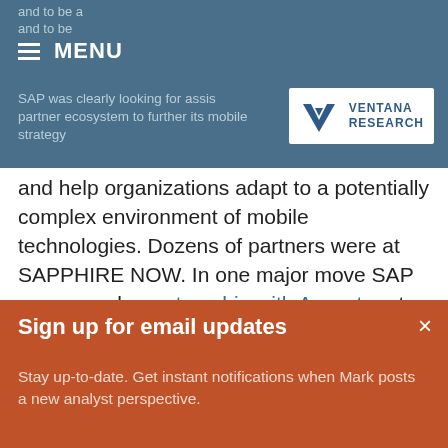and to be a partner ecosystem to further its mobile strategy
and help organizations adapt to a potentially complex environment of mobile technologies. Dozens of partners were at SAPPHIRE NOW. In one major move SAP announced a partnership with Accenture to further its global presence with consultants and support of enterprise deployments.
We at Ventana Research are already working on benchmark research on the competency of
Sign up for email updates
Stay up-to-date. Get instant notifications when Mark posts a new analyst perspective.